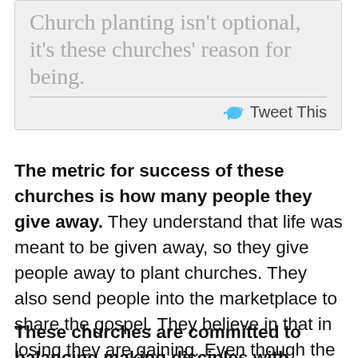[Figure (other): Quote box with greyed-out text reading 'Church planting isn't optional, it's these churches' reason for being.' with a Twitter bird icon and 'Tweet This' link below a divider]
The metric for success of these churches is how many people they give away. They understand that life was meant to be given away, so they give people away to plant churches. They also send people into the marketplace to share the gospel. They believe in that in losing they are gaining. Even though the Sunday morning experience is well done, it is not their main focus. These churches have a different scorecard for faithfulness – sending.
These churches are committed to balancing making disciples with planting churches. They